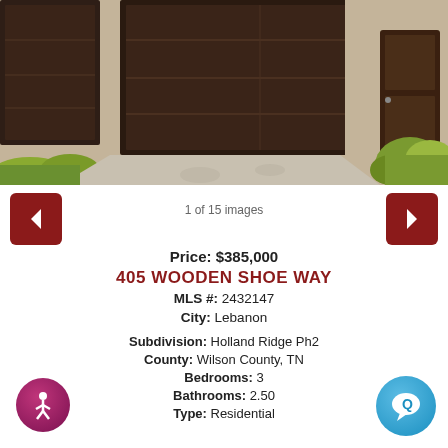[Figure (photo): Exterior photo of a brick house with dark brown garage door and front entry door, concrete driveway, and landscaping with shrubs]
1 of 15 images
Price: $385,000
405 WOODEN SHOE WAY
MLS #: 2432147
City: Lebanon
Subdivision: Holland Ridge Ph2
County: Wilson County, TN
Bedrooms: 3
Bathrooms: 2.50
Type: Residential
Elementary: Byars Dowdy Elementary
Middle: Winfree Bryant Middle School
High: Lebanon High School